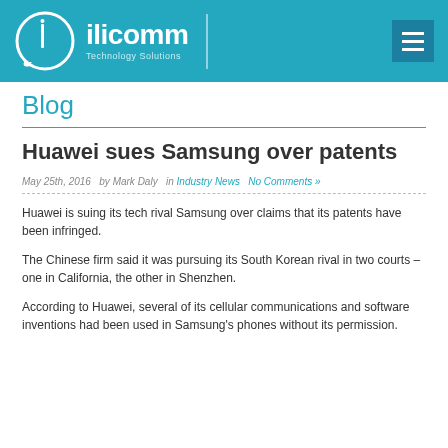ilicomm Technology Solutions
Blog
Huawei sues Samsung over patents
May 25th, 2016  by Mark Daly  in Industry News  No Comments »
Huawei is suing its tech rival Samsung over claims that its patents have been infringed.
The Chinese firm said it was pursuing its South Korean rival in two courts – one in California, the other in Shenzhen.
According to Huawei, several of its cellular communications and software inventions had been used in Samsung's phones without its permission.